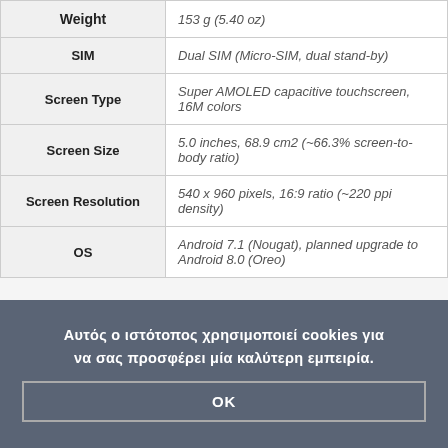| Feature | Value |
| --- | --- |
| Weight | 153 g (5.40 oz) |
| SIM | Dual SIM (Micro-SIM, dual stand-by) |
| Screen Type | Super AMOLED capacitive touchscreen, 16M colors |
| Screen Size | 5.0 inches, 68.9 cm2 (~66.3% screen-to-body ratio) |
| Screen Resolution | 540 x 960 pixels, 16:9 ratio (~220 ppi density) |
| OS | Android 7.1 (Nougat), planned upgrade to Android 8.0 (Oreo) |
Αυτός ο ιστότοπος χρησιμοποιεί cookies για να σας προσφέρει μία καλύτερη εμπειρία.
OK